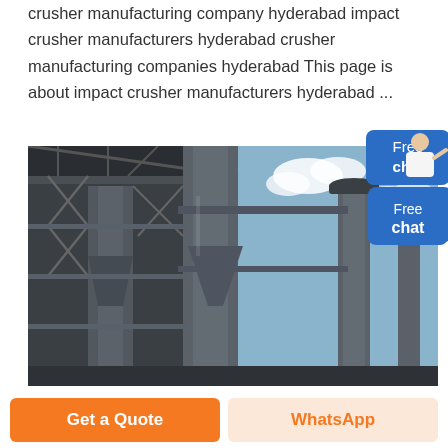crusher manufacturing company hyderabad impact crusher manufacturers hyderabad crusher manufacturing companies hyderabad This page is about impact crusher manufacturers hyderabad ...
[Figure (photo): Industrial facility with large metal silos, smokestacks and steel framework structures against a blue sky with clouds]
Free chat
Get a Quote
WhatsApp